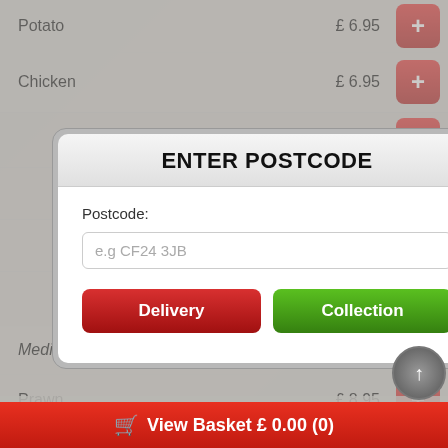Potato   £ 6.95
Chicken   £ 6.95
£ 14.95
£ 6.95
£ 6.95
£ 8.95
[Figure (screenshot): Modal dialog with title ENTER POSTCODE, a postcode label, input field with placeholder 'e.g CF24 3JB', and two buttons: Delivery (red) and Collection (green)]
Medium
Prawn   £ 8.95
Beef   £ 8.95
View Basket £ 0.00 (0)